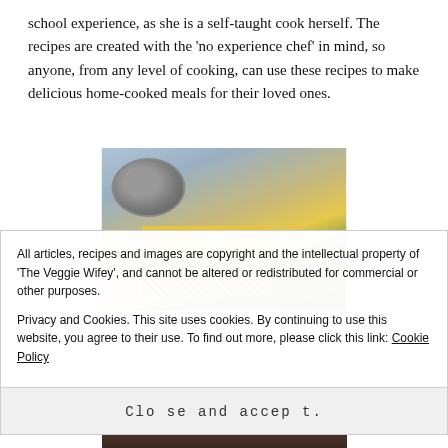school experience, as she is a self-taught cook herself. The recipes are created with the 'no experience chef' in mind, so anyone, from any level of cooking, can use these recipes to make delicious home-cooked meals for their loved ones.
[Figure (photo): Photo of yellow dhokla pieces topped with herbs and a metal bowl in the background on a light fabric surface.]
All articles, recipes and images are copyright and the intellectual property of 'The Veggie Wifey', and cannot be altered or redistributed for commercial or other purposes.
Privacy and Cookies. This site uses cookies. By continuing to use this website, you agree to their use. To find out more, please click this link: Cookie Policy
Close and accept.